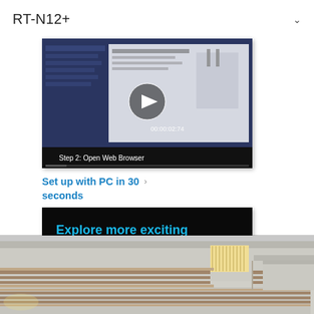RT-N12+
[Figure (screenshot): Video thumbnail showing router setup tutorial - Step 2: Open Web Browser, with play button and timestamp 00:00:02:74]
Set up with PC in 30 seconds ›
[Figure (screenshot): Video player thumbnail showing 'Explore more exciting features' text with a circular play button on dark background]
[Figure (photo): Partial view of a modern house exterior with balcony railings and warm interior lighting]